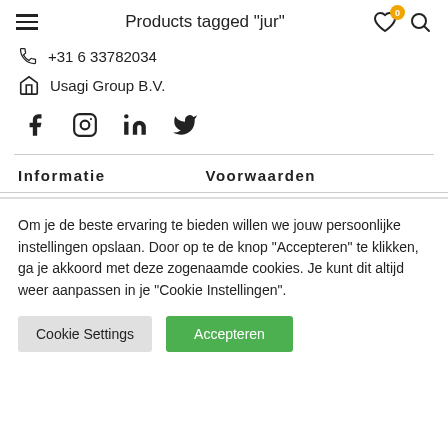Products tagged "jur"
+31 6 33782034
Usagi Group B.V.
[Figure (other): Social media icons: Facebook, Instagram, LinkedIn, Twitter]
Informatie
Voorwaarden
Om je de beste ervaring te bieden willen we jouw persoonlijke instellingen opslaan. Door op te de knop "Accepteren" te klikken, ga je akkoord met deze zogenaamde cookies. Je kunt dit altijd weer aanpassen in je "Cookie Instellingen".
Cookie Settings | Accepteren